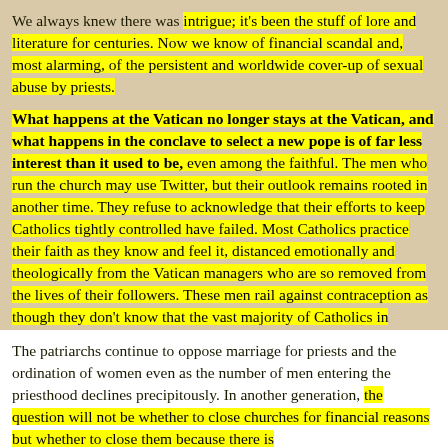We always knew there was intrigue; it's been the stuff of lore and literature for centuries. Now we know of financial scandal and, most alarming, of the persistent and worldwide cover-up of sexual abuse by priests.
What happens at the Vatican no longer stays at the Vatican, and what happens in the conclave to select a new pope is of far less interest than it used to be, even among the faithful. The men who run the church may use Twitter, but their outlook remains rooted in another time. They refuse to acknowledge that their efforts to keep Catholics tightly controlled have failed. Most Catholics practice their faith as they know and feel it, distanced emotionally and theologically from the Vatican managers who are so removed from the lives of their followers. These men rail against contraception as though they don't know that the vast majority of Catholics in developed countries turn a deaf ear. Italy has one of Europe's lowest birth rates, and it's not because of the Mediterranean diet.
The patriarchs continue to oppose marriage for priests and the ordination of women even as the number of men entering the priesthood declines precipitously. In another generation, the question will not be whether to close churches for financial reasons but whether to close them because there is